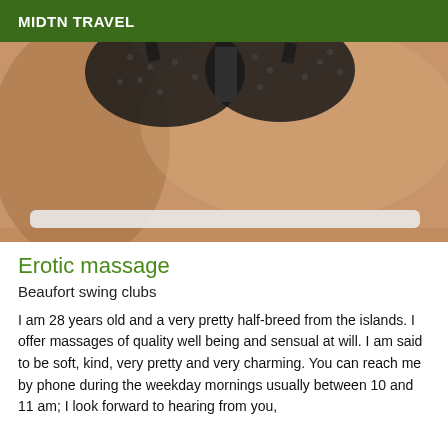MIDTN TRAVEL
[Figure (photo): Close-up photo of a person wearing a black lace/dotted bra, torso visible against a warm skin-toned background]
Erotic massage
Beaufort swing clubs
I am 28 years old and a very pretty half-breed from the islands. I offer massages of quality well being and sensual at will. I am said to be soft, kind, very pretty and very charming. You can reach me by phone during the weekday mornings usually between 10 and 11 am; I look forward to hearing from you,